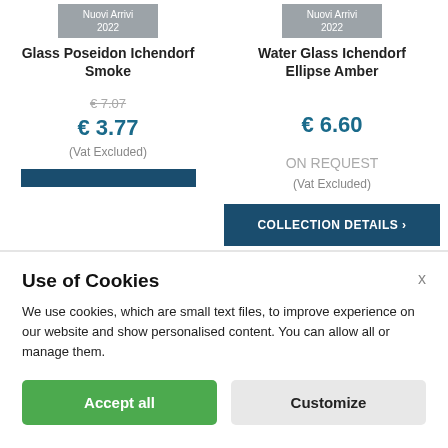Nuovi Arrivi 2022 — Glass Poseidon Ichendorf Smoke
Nuovi Arrivi 2022 — Water Glass Ichendorf Ellipse Amber
€7.07 (strikethrough original price)
€ 3.77 (Vat Excluded)
€ 6.60
ON REQUEST (Vat Excluded)
COLLECTION DETAILS >
Use of Cookies
We use cookies, which are small text files, to improve experience on our website and show personalised content. You can allow all or manage them.
Accept all
Customize